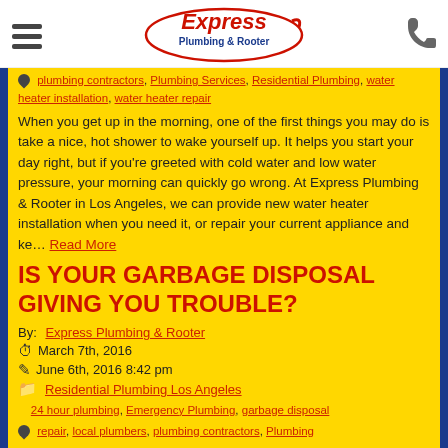Express Plumbing & Rooter
plumbing contractors, Plumbing Services, Residential Plumbing, water heater installation, water heater repair
When you get up in the morning, one of the first things you may do is take a nice, hot shower to wake yourself up. It helps you start your day right, but if you're greeted with cold water and low water pressure, your morning can quickly go wrong. At Express Plumbing & Rooter in Los Angeles, we can provide new water heater installation when you need it, or repair your current appliance and ke… Read More
IS YOUR GARBAGE DISPOSAL GIVING YOU TROUBLE?
By: Express Plumbing & Rooter
March 7th, 2016
June 6th, 2016 8:42 pm
Residential Plumbing Los Angeles
24 hour plumbing, Emergency Plumbing, garbage disposal repair, local plumbers, plumbing contractors, Plumbing